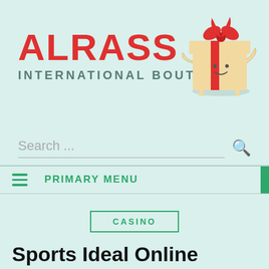[Figure (logo): ALRASS International Boutique logo with animated gift box character on teal/mint background]
Search ...
PRIMARY MENU
CASINO
Sports Ideal Online Betting